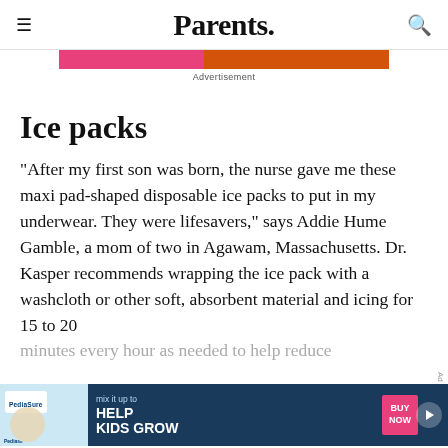Parents.
[Figure (other): Advertisement banner with pink and orange gradient colors]
Advertisement
Ice packs
"After my first son was born, the nurse gave me these maxi pad-shaped disposable ice packs to put in my underwear. They were lifesavers," says Addie Hume Gamble, a mom of two in Agawam, Massachusetts. Dr. Kasper recommends wrapping the ice pack with a washcloth or other soft, absorbent material and icing for 15 to 20 minutes every hour as needed to help reduce
[Figure (other): PediaSure advertisement: mix it up to HELP KIDS GROW, BUY NOW button]